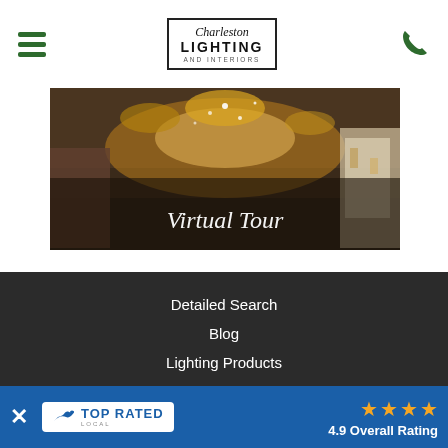Charleston Lighting and Interiors - navigation header with hamburger menu and phone icon
[Figure (photo): Interior of a lighting showroom with numerous chandeliers and lights hanging from ceiling, with display walls showing various lamps and fixtures. Text overlay reads 'Virtual Tour'.]
Detailed Search
Blog
Lighting Products
Virtual Tour
[Figure (logo): Top Rated Local badge with blue bird logo, 4 gold stars, and '4.9 Overall Rating' text on blue banner]